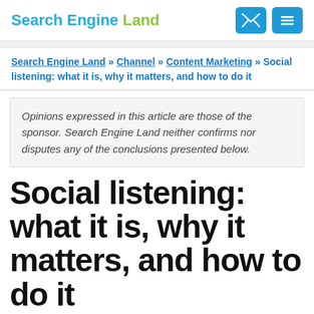Search Engine Land
Search Engine Land » Channel » Content Marketing » Social listening: what it is, why it matters, and how to do it
Opinions expressed in this article are those of the sponsor. Search Engine Land neither confirms nor disputes any of the conclusions presented below.
Social listening: what it is, why it matters, and how to do it